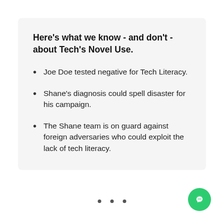Here's what we know - and don't - about Tech's Novel Use.
Joe Doe tested negative for Tech Literacy.
Shane's diagnosis could spell disaster for his campaign.
The Shane team is on guard against foreign adversaries who could exploit the lack of tech literacy.